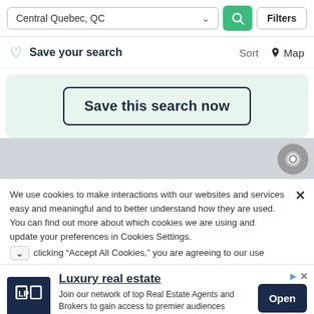Central Quebec, QC — Search bar with Filters button
Save your search   Sort   Map
Save this search now
[Figure (screenshot): Map area with location circle icon]
We use cookies to make interactions with our websites and services easy and meaningful and to better understand how they are used. You can find out more about which cookies we are using and update your preferences in Cookies Settings. clicking "Accept All Cookies," you are agreeing to our use
Luxury real estate
Join our network of top Real Estate Agents and Brokers to gain access to premier audiences Luxury Portfolio Int.
Open